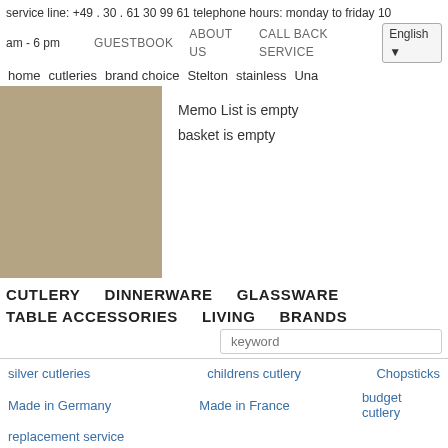service line: +49 . 30 . 61 30 99 61 telephone hours: monday to friday 10 am - 6 pm   GUESTBOOK   ABOUT US   CALL BACK SERVICE   English
home  cutleries  brand choice  Stelton  stainless  Una
[Figure (photo): Large tan/beige colored product image placeholder for Stelton Una cutlery in stainless]
Memo List is empty
basket is empty
CUTLERY   DINNERWARE   GLASSWARE   TABLE ACCESSORIES   LIVING   BRANDS
keyword (search input)
silver cutleries
childrens cutlery
Chopsticks
Made in Germany
Made in France
budget cutlery
replacement service
Stelton Una cutlery in stainless